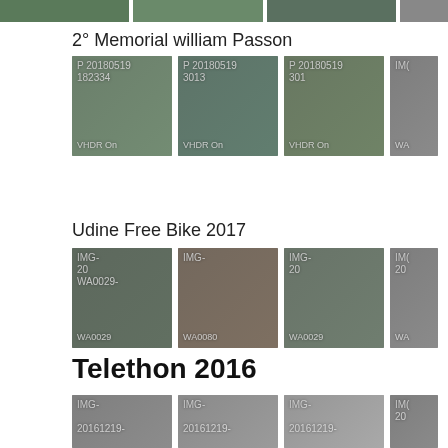[Figure (photo): Top strip of partially visible photo thumbnails]
2° Memorial william Passon
[Figure (photo): Row of 4 photo thumbnails for '2° Memorial william Passon' event, labeled P 20180519 with VHDR On watermarks]
Udine Free Bike 2017
[Figure (photo): Row of 4 photo thumbnails for 'Udine Free Bike 2017' event, labeled IMG- with WA00 watermarks]
Telethon 2016
[Figure (photo): Row of 4 partially visible photo thumbnails for 'Telethon 2016' event, labeled IMG-20161219-]